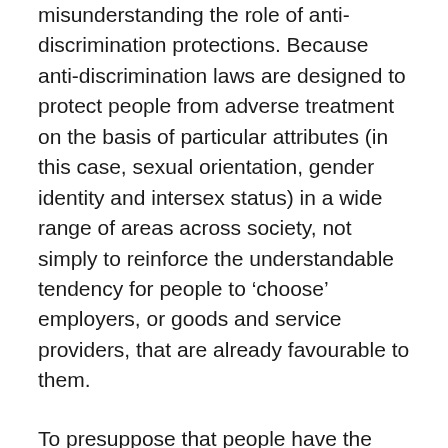misunderstanding the role of anti-discrimination protections. Because anti-discrimination laws are designed to protect people from adverse treatment on the basis of particular attributes (in this case, sexual orientation, gender identity and intersex status) in a wide range of areas across society, not simply to reinforce the understandable tendency for people to ‘choose’ employers, or goods and service providers, that are already favourable to them.
To presuppose that people have the ability to ‘choose’ is also to assume everyone has the same level of power or privilege in society that you may have. In many cases this is clearly not true – just because a highly-qualified gay man in inner-Sydney may be able to reject employment by a homophobe, does not mean a less-qualified trans* person in a regional centre with high unemployment would